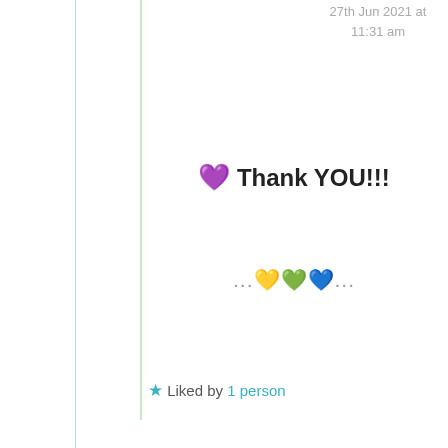27th Jun 2021 at 11:31 am
💜 Thank YOU!!!
...💛💚💙...
★ Liked by 1 person
Advertisements
AUTOMATTIC
Build a better web and a better world.
REPORT THIS AD
Privacy & Cookies: This site uses cookies. By continuing to use this website, you agree to their use. To find out more, including how to control cookies, see here: Cookie Policy
Close and accept